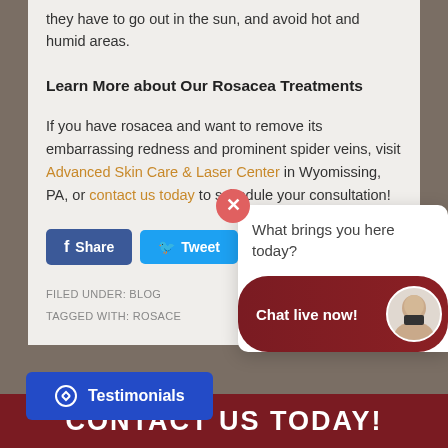they have to go out in the sun, and avoid hot and humid areas.
Learn More about Our Rosacea Treatments
If you have rosacea and want to remove its embarrassing redness and prominent spider veins, visit Advanced Skin Care & Laser Center in Wyomissing, PA, or contact us today to schedule your consultation!
[Figure (other): Social share buttons: Facebook Share, Tweet, LinkedIn SHARE]
FILED UNDER: BLOG
TAGGED WITH: ROSACE
What brings you here today?
Chat live now!
Testimonials
CONTACT US TODAY!